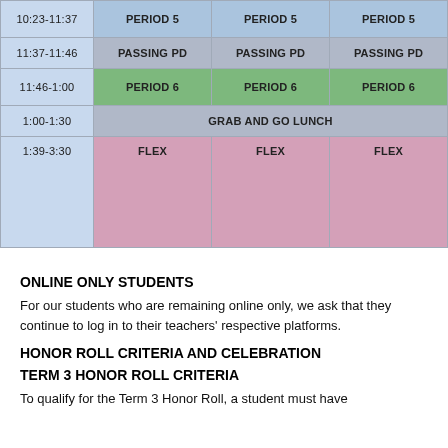| Time | Col1 | Col2 | Col3 |
| --- | --- | --- | --- |
| 10:23-11:37 | PERIOD 5 | PERIOD 5 | PERIOD 5 |
| 11:37-11:46 | PASSING PD | PASSING PD | PASSING PD |
| 11:46-1:00 | PERIOD 6 | PERIOD 6 | PERIOD 6 |
| 1:00-1:30 |  | GRAB AND GO LUNCH |  |
| 1:39-3:30 | FLEX | FLEX | FLEX |
ONLINE ONLY STUDENTS
For our students who are remaining online only, we ask that they continue to log in to their teachers' respective platforms.
HONOR ROLL CRITERIA AND CELEBRATION
TERM 3 HONOR ROLL CRITERIA
To qualify for the Term 3 Honor Roll, a student must have